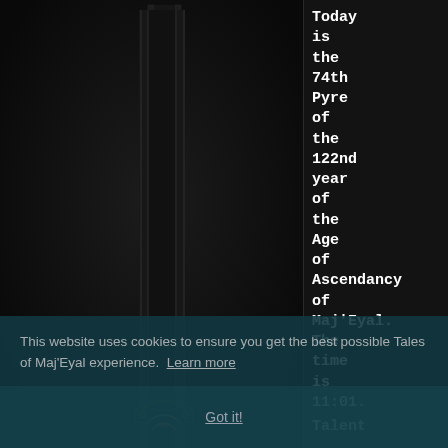[Figure (screenshot): Dark game interface screenshot showing a vertical pillar/panel graphic in the center-left area on a very dark near-black background. The pillar has ornate golden/orange accents at the bottom.]
Today is the 74th Pyre of the 122nd year of the Age of Ascendancy of Maj'Eyal. The time is 11:01.
Talent
This website uses cookies to ensure you get the best possible Tales of Maj'Eyal experience. Learn more
Got it!